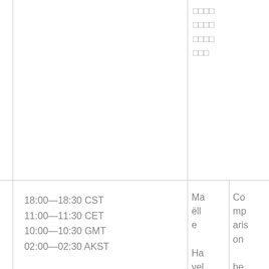□□□□ □□□□ □□□□ □□□
18:00—18:30 CST
11:00—11:30 CET
10:00—10:30 GMT
02:00—02:30 AKST
Maëlle Havelange University
Comparison between Chinese